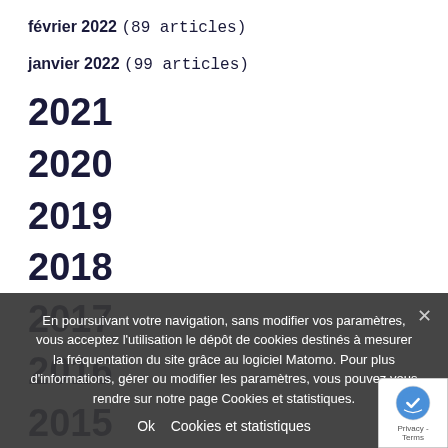février 2022 (89 articles)
janvier 2022 (99 articles)
2021
2020
2019
2018
2017
2016
2015
En poursuivant votre navigation, sans modifier vos paramètres, vous acceptez l'utilisation le dépôt de cookies destinés à mesurer la fréquentation du site grâce au logiciel Matomo. Pour plus d'informations, gérer ou modifier les paramètres, vous pouvez vous rendre sur notre page Cookies et statistiques.
Ok   Cookies et statistiques